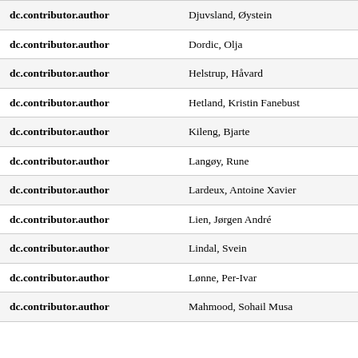| Field | Value |
| --- | --- |
| dc.contributor.author | Djuvsland, Øystein |
| dc.contributor.author | Dordic, Olja |
| dc.contributor.author | Helstrup, Håvard |
| dc.contributor.author | Hetland, Kristin Fanebust |
| dc.contributor.author | Kileng, Bjarte |
| dc.contributor.author | Langøy, Rune |
| dc.contributor.author | Lardeux, Antoine Xavier |
| dc.contributor.author | Lien, Jørgen André |
| dc.contributor.author | Lindal, Svein |
| dc.contributor.author | Lønne, Per-Ivar |
| dc.contributor.author | Mahmood, Sohail Musa |